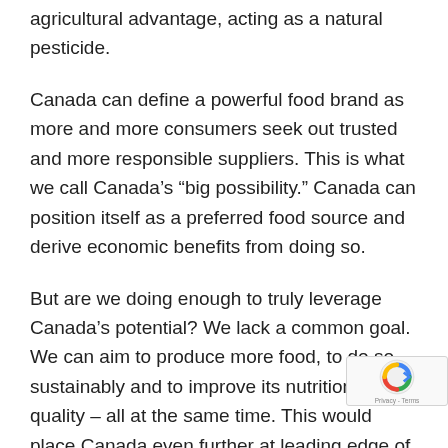agricultural advantage, acting as a natural pesticide.
Canada can define a powerful food brand as more and more consumers seek out trusted and more responsible suppliers. This is what we call Canada’s “big possibility.” Canada can position itself as a preferred food source and derive economic benefits from doing so.
But are we doing enough to truly leverage Canada’s potential? We lack a common goal. We can aim to produce more food, to do so sustainably and to improve its nutritional quality – all at the same time. This would place Canada even further at leading edge of global food innovation. This ef will require strong collaboration across the food